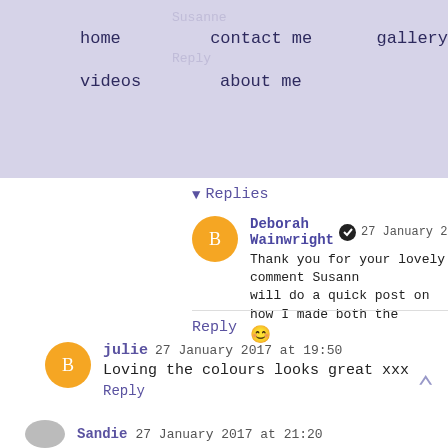home   contact me   gallery
videos   about me
▾ Replies
Deborah Wainwright ✔ 27 January 2017 at
Thank you for your lovely comment Susann
will do a quick post on how I made both the
😊
Reply
julie 27 January 2017 at 19:50
Loving the colours looks great xxx
Reply
Sandie 27 January 2017 at 21:20